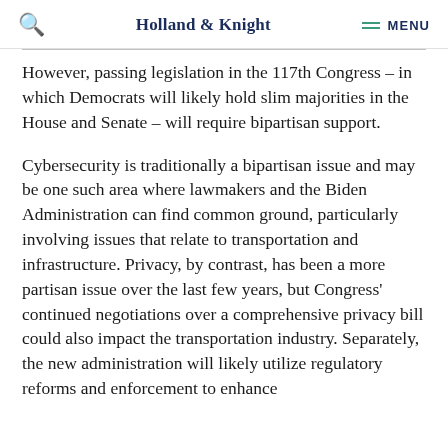Holland & Knight  MENU
However, passing legislation in the 117th Congress – in which Democrats will likely hold slim majorities in the House and Senate – will require bipartisan support.
Cybersecurity is traditionally a bipartisan issue and may be one such area where lawmakers and the Biden Administration can find common ground, particularly involving issues that relate to transportation and infrastructure. Privacy, by contrast, has been a more partisan issue over the last few years, but Congress' continued negotiations over a comprehensive privacy bill could also impact the transportation industry. Separately, the new administration will likely utilize regulatory reforms and enforcement to enhance